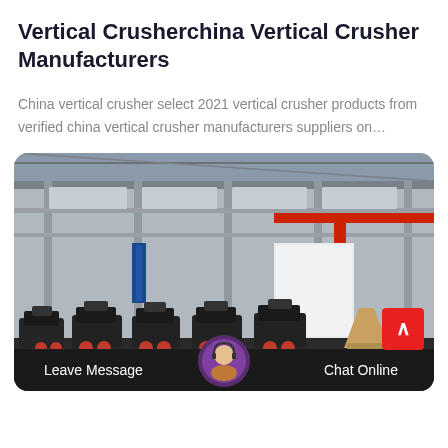Vertical Crusherchina Vertical Crusher Manufacturers
China vertical crusher select 2021 vertical crusher products from verified china vertical crusher manufacturers suppliers on...
[Figure (photo): Industrial factory interior showing a large warehouse/manufacturing facility with steel structure, red overhead crane, and rows of heavy vertical crusher machinery on the floor. A chat interface overlay with Leave Message and Chat Online buttons is shown at the bottom, along with a customer service avatar and a red scroll-to-top button.]